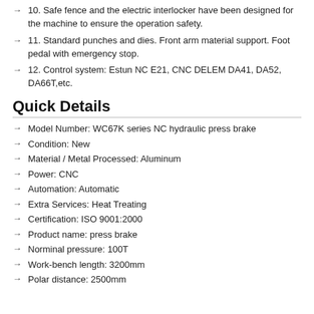10. Safe fence and the electric interlocker have been designed for the machine to ensure the operation safety.
11. Standard punches and dies. Front arm material support. Foot pedal with emergency stop.
12. Control system: Estun NC E21, CNC DELEM DA41, DA52, DA66T,etc.
Quick Details
Model Number: WC67K series NC hydraulic press brake
Condition: New
Material / Metal Processed: Aluminum
Power: CNC
Automation: Automatic
Extra Services: Heat Treating
Certification: ISO 9001:2000
Product name: press brake
Norminal pressure: 100T
Work-bench length: 3200mm
Polar distance: 2500mm